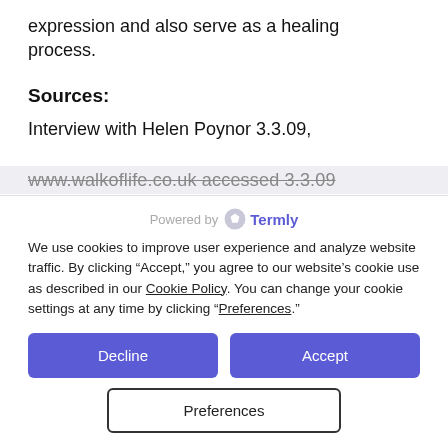expression and also serve as a healing process.
Sources:
Interview with Helen Poynor 3.3.09, www.walkoflife.co.uk accessed 3.3.09
Powered by Termly
We use cookies to improve user experience and analyze website traffic. By clicking “Accept,” you agree to our website’s cookie use as described in our Cookie Policy. You can change your cookie settings at any time by clicking “Preferences.”
Decline
Accept
Preferences